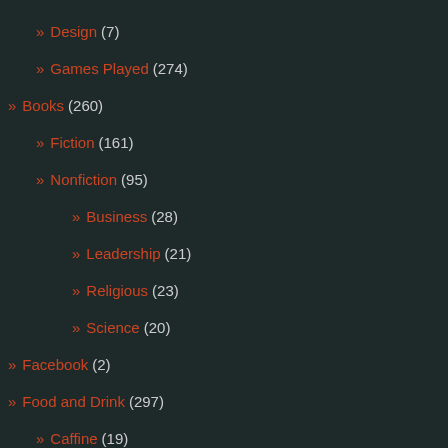» Design (7)
» Games Played (274)
» Books (260)
» Fiction (161)
» Nonfiction (95)
» Business (28)
» Leadership (21)
» Religious (23)
» Science (20)
» Facebook (2)
» Food and Drink (297)
» Caffine (19)
» Drink (63)
» Beer (23)
» Liquor (18)